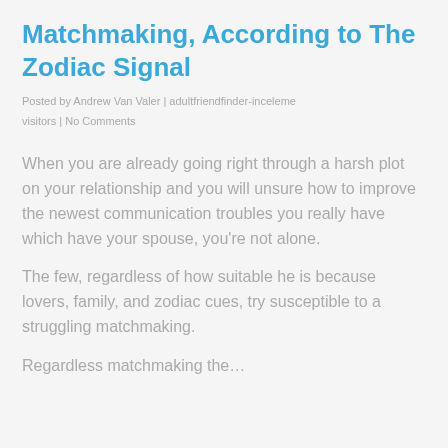Matchmaking, According to The Zodiac Signal
Posted by Andrew Van Valer | adultfriendfinder-inceleme visitors | No Comments
When you are already going right through a harsh plot on your relationship and you will unsure how to improve the newest communication troubles you really have which have your spouse, you're not alone.
The few, regardless of how suitable he is because lovers, family, and zodiac cues, try susceptible to a struggling matchmaking.
Regardless matchmaking the…